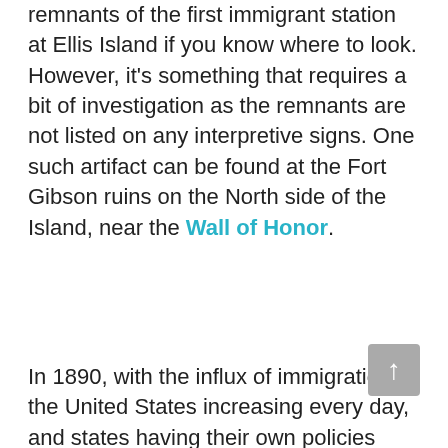remnants of the first immigrant station at Ellis Island if you know where to look. However, it's something that requires a bit of investigation as the remnants are not listed on any interpretive signs. One such artifact can be found at the Fort Gibson ruins on the North side of the Island, near the Wall of Honor.
In 1890, with the influx of immigration in the United States increasing every day, and states having their own policies regarding immigration that didn't always correspond with each others', the federal government took control. New York State controlled immigration for the port of New York until 1890: it was the main point of arrival for most immigrants coming to the United States, and they were processed at Castle Garden, know today as the Castle Clinton National Monument. There were, however, processing centers in major coastal cities such as Philadelphia and Boston, but the numbers of people arriving to those ports were far lower.